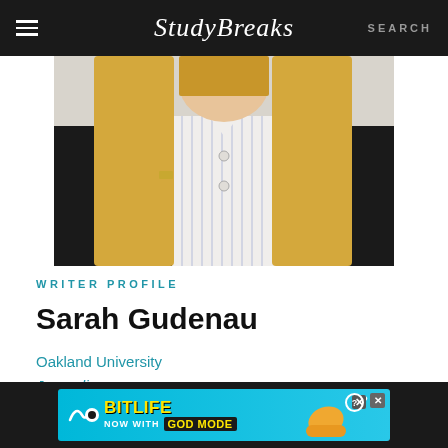Study Breaks   SEARCH
[Figure (photo): Portrait photo of Sarah Gudenau wearing a black blazer with blonde hair and a gold pin on lapel, white striped shirt visible, light background]
WRITER PROFILE
Sarah Gudenau
Oakland University
Journalism
[Figure (logo): Twitter bird icon in blue]
[Figure (infographic): BitLife advertisement banner - NOW WITH GOD MODE on blue background with cartoon graphics]